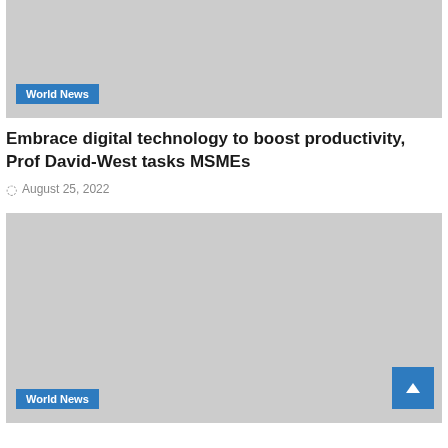[Figure (photo): Top image placeholder with 'World News' badge overlay, gray background]
Embrace digital technology to boost productivity, Prof David-West tasks MSMEs
August 25, 2022
[Figure (photo): Bottom image placeholder with 'World News' badge overlay and scroll-to-top button, gray background]